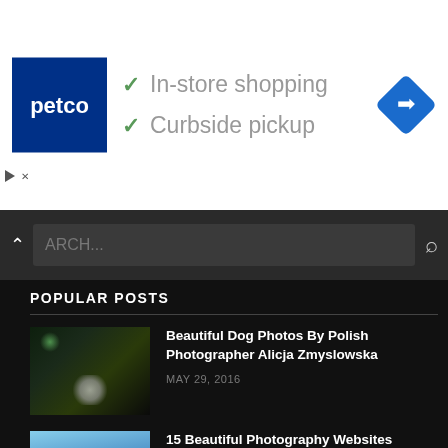[Figure (infographic): Petco advertisement banner with logo, checkmarks for In-store shopping and Curbside pickup, and a navigation icon]
[Figure (screenshot): Dark search bar with caret, search input field showing ARCH... placeholder, and magnifying glass icon]
POPULAR POSTS
Beautiful Dog Photos By Polish Photographer Alicja Zmyslowska
MAY 29, 2016
15 Beautiful Photography Websites Powered by WordPress
DECEMBER 20, 2011
How to give titles for your Photographs – Tips and ...